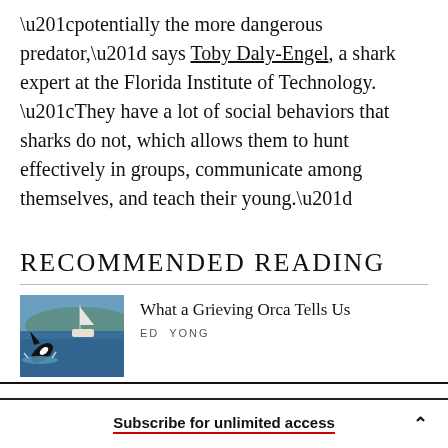“potentially the more dangerous predator,” says Toby Daly-Engel, a shark expert at the Florida Institute of Technology. “They have a lot of social behaviors that sharks do not, which allows them to hunt effectively in groups, communicate among themselves, and teach their young.”
RECOMMENDED READING
[Figure (photo): Photo of an orca breaching the water surface near a sailboat, with blue water and hills in background]
What a Grieving Orca Tells Us
ED YONG
Subscribe for unlimited access